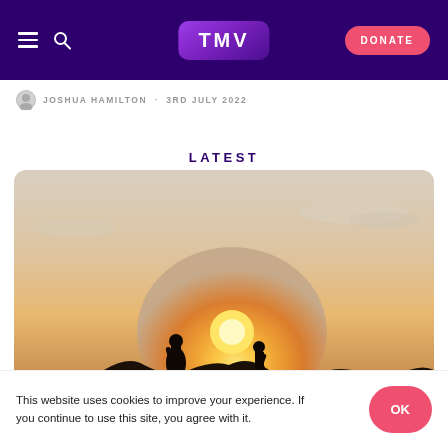TMV — DONATE
JOSHUA HAMILTON · 3RD JULY 2022
LATEST
[Figure (photo): Two silhouetted figures standing on a rocky ridge against a warm golden sunset sky with wispy clouds. One figure appears to be a woman in a long dress, the other a person walking.]
This website uses cookies to improve your experience. If you continue to use this site, you agree with it.